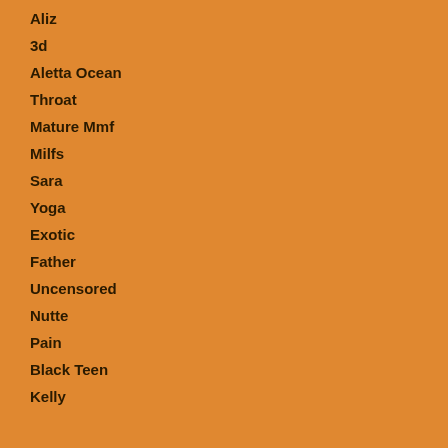Aliz
3d
Aletta Ocean
Throat
Mature Mmf
Milfs
Sara
Yoga
Exotic
Father
Uncensored
Nutte
Pain
Black Teen
Kelly